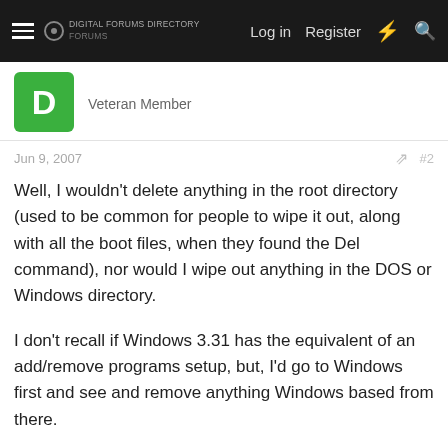Log in  Register
Veteran Member
Jun 9, 2007  #2
Well, I wouldn't delete anything in the root directory (used to be common for people to wipe it out, along with all the boot files, when they found the Del command), nor would I wipe out anything in the DOS or Windows directory.

I don't recall if Windows 3.31 has the equivalent of an add/remove programs setup, but, I'd go to Windows first and see and remove anything Windows based from there.

Anything else is, pretty much, up for grabs, I would imagine.
CP2
New Member